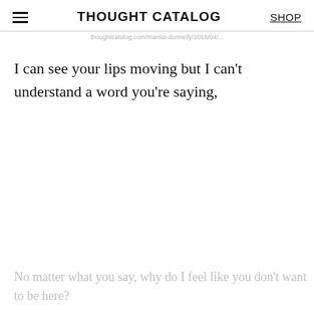THOUGHT CATALOG  SHOP
I can see your lips moving but I can't understand a word you're saying,
No matter what you say, why do I feel like you don't want to be here?